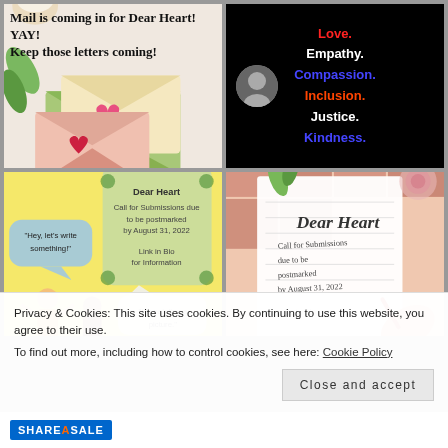[Figure (illustration): Illustrated image of envelopes with hearts and a coffee cup with text overlay: 'Mail is coming in for Dear Heart! YAY! Keep those letters coming!']
[Figure (illustration): Black background with colored text listing values: Love. (red), Empathy. (white), Compassion. (blue), Inclusion. (orange-red), Justice. (white), Kindness. (blue). A circular avatar photo is on the left side.]
[Figure (illustration): Yellow background illustration of two cartoon people with speech bubbles. Center box reads: Dear Heart, Call for Submissions due to be postmarked by August 31, 2022. Link in Bio for information. Speech bubbles say 'Hey, let's write something!' and 'I'm painting a picture.']
[Figure (illustration): Illustrated hand writing on a notebook page. Handwritten text: Dear Heart, Call for Submissions due to be postmarked by August 31, 2022. Link in Bio. Pink tile background.]
Privacy & Cookies: This site uses cookies. By continuing to use this website, you agree to their use.
To find out more, including how to control cookies, see here: Cookie Policy
Close and accept
[Figure (logo): ShareASale logo in blue with orange accent on white background]